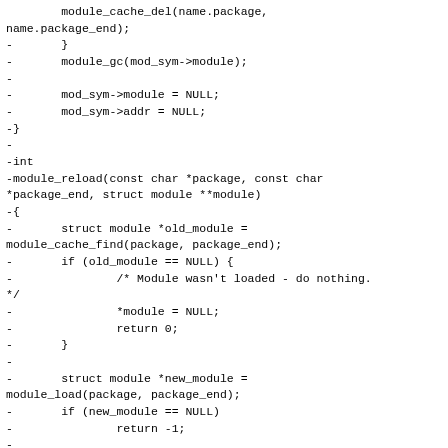module_cache_del(name.package,
name.package_end);
-       }
-       module_gc(mod_sym->module);
-
-       mod_sym->module = NULL;
-       mod_sym->addr = NULL;
-}
-
-int
-module_reload(const char *package, const char
*package_end, struct module **module)
-{
-       struct module *old_module =
module_cache_find(package, package_end);
-       if (old_module == NULL) {
-               /* Module wasn't loaded - do nothing.
*/
-               *module = NULL;
-               return 0;
-       }
-
-       struct module *new_module =
module_load(package, package_end);
-       if (new_module == NULL)
-               return -1;
-
-       struct module_sym *mod_sym, *tmp;
-       rlist_foreach_entry_safe(mod_sym, &old_module-
>funcs, item, tmp) {
-               struct func_name name;